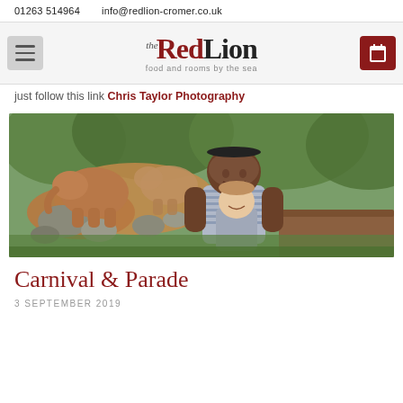01263 514964   info@redlion-cromer.co.uk
[Figure (logo): The Red Lion logo with tagline 'food and rooms by the sea']
Just follow this link Chris Taylor Photography
[Figure (photo): Man and child sitting in front of an elephant enclosure at a zoo, with lush green vegetation and rocks in background]
Carnival & Parade
3 SEPTEMBER 2019